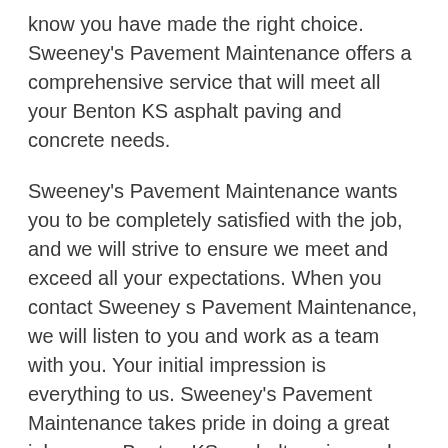know you have made the right choice. Sweeney's Pavement Maintenance offers a comprehensive service that will meet all your Benton KS asphalt paving and concrete needs.
Sweeney's Pavement Maintenance wants you to be completely satisfied with the job, and we will strive to ensure we meet and exceed all your expectations. When you contact Sweeney s Pavement Maintenance, we will listen to you and work as a team with you. Your initial impression is everything to us. Sweeney's Pavement Maintenance takes pride in doing a great job on our Benton KS asphalt paving and concrete projects.